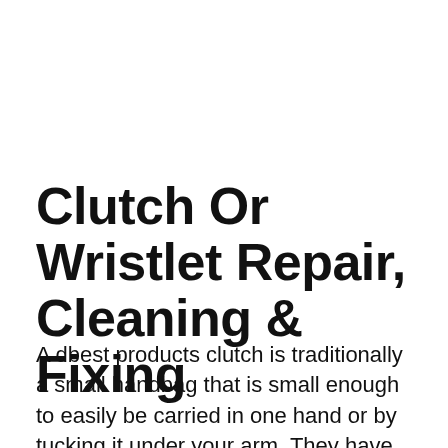Clutch Or Wristlet Repair, Cleaning & Fixing
A dbest products clutch is traditionally a small handbag that is small enough to easily be carried in one hand or by tucking it under your arm. They have no straps or handles attached to them which makes them smaller, more streamlined and less bulky than more